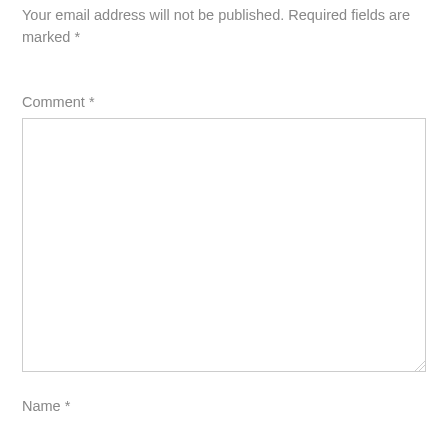Your email address will not be published. Required fields are marked *
Comment *
Name *